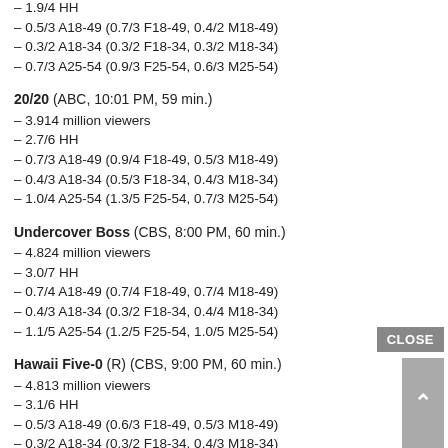– 1.9/4 HH
– 0.5/3 A18-49 (0.7/3 F18-49, 0.4/2 M18-49)
– 0.3/2 A18-34 (0.3/2 F18-34, 0.3/2 M18-34)
– 0.7/3 A25-54 (0.9/3 F25-54, 0.6/3 M25-54)
20/20 (ABC, 10:01 PM, 59 min.)
– 3.914 million viewers
– 2.7/6 HH
– 0.7/3 A18-49 (0.9/4 F18-49, 0.5/3 M18-49)
– 0.4/3 A18-34 (0.5/3 F18-34, 0.4/3 M18-34)
– 1.0/4 A25-54 (1.3/5 F25-54, 0.7/3 M25-54)
Undercover Boss (CBS, 8:00 PM, 60 min.)
– 4.824 million viewers
– 3.0/7 HH
– 0.7/4 A18-49 (0.7/4 F18-49, 0.7/4 M18-49)
– 0.4/3 A18-34 (0.3/2 F18-34, 0.4/4 M18-34)
– 1.1/5 A25-54 (1.2/5 F25-54, 1.0/5 M25-54)
Hawaii Five-0 (R) (CBS, 9:00 PM, 60 min.)
– 4.813 million viewers
– 3.1/6 HH
– 0.5/3 A18-49 (0.6/3 F18-49, 0.5/3 M18-49)
– 0.3/2 A18-34 (0.3/2 F18-34, 0.4/3 M18-34)
– 0.8/3 A25-54 (1.0/4 F25-54, 0.7/3 M25-54)